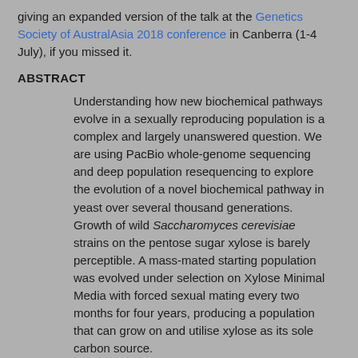giving an expanded version of the talk at the Genetics Society of AustralAsia 2018 conference in Canberra (1-4 July), if you missed it.
ABSTRACT
Understanding how new biochemical pathways evolve in a sexually reproducing population is a complex and largely unanswered question. We are using PacBio whole-genome sequencing and deep population resequencing to explore the evolution of a novel biochemical pathway in yeast over several thousand generations. Growth of wild Saccharomyces cerevisiae strains on the pentose sugar xylose is barely perceptible. A mass-mated starting population was evolved under selection on Xylose Minimal Media with forced sexual mating every two months for four years, producing a population that can grow on and utilise xylose as its sole carbon source.
We are now using a novel “molecular palaeontology” approach to trace the evolutionary